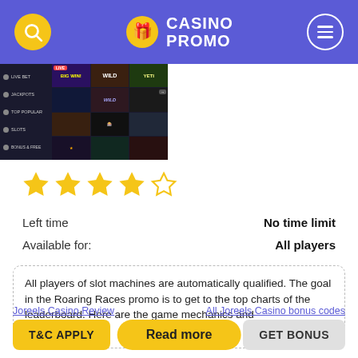CASINO PROMO
[Figure (screenshot): Casino gaming interface screenshot showing various slot game tiles including WILD and other games]
★★★★☆ (4 out of 5 stars)
Left time   No time limit
Available for:   All players
All players of slot machines are automatically qualified. The goal in the Roaring Races promo is to get to the top charts of the leaderboard. Here are the game mechanics and
Read more
Joreels Casino Review   All Joreels Casino bonus codes
T&C APPLY   GET BONUS